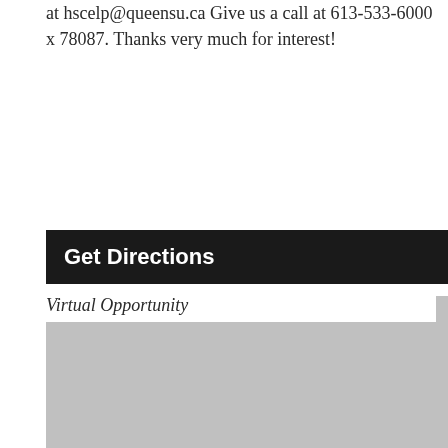at hscelp@queensu.ca Give us a call at 613-533-6000 x 78087. Thanks very much for interest!
Get Directions
Virtual Opportunity
[Figure (map): Gray placeholder box representing an embedded map for virtual opportunity directions]